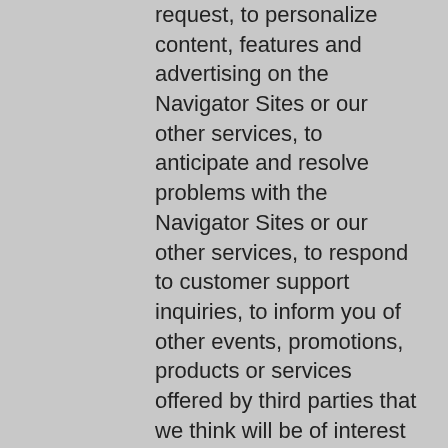request, to personalize content, features and advertising on the Navigator Sites or our other services, to anticipate and resolve problems with the Navigator Sites or our other services, to respond to customer support inquiries, to inform you of other events, promotions, products or services offered by third parties that we think will be of interest to you, to send you relevant survey invitations, for our own internal operations, and for any purpose for which such information was specifically collected from you.  We may, from time to time, contact you on behalf of external business partners about a particular offering that may be of interest to you.  In those cases, your personal information (e-mail, name, address, telephone number) is not transferred to the third party unless you have consented to such transfer.